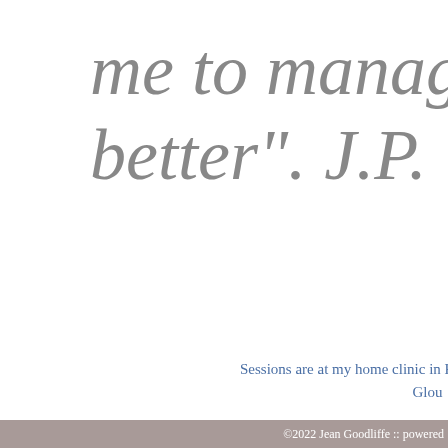me to manage my stre better". J.P.
Sessions are at my home clinic in Kensingt Glou
©2022 Jean Goodliffe :: powered